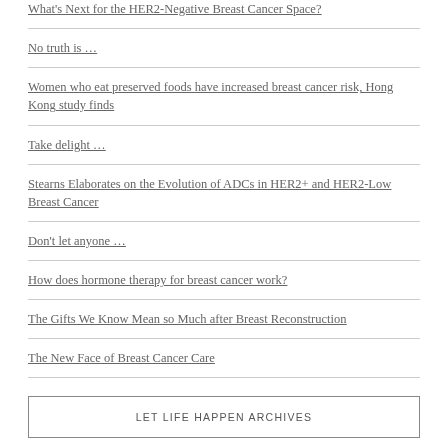What's Next for the HER2-Negative Breast Cancer Space?
No truth is …
Women who eat preserved foods have increased breast cancer risk, Hong Kong study finds
Take delight …
Stearns Elaborates on the Evolution of ADCs in HER2+ and HER2-Low Breast Cancer
Don't let anyone …
How does hormone therapy for breast cancer work?
The Gifts We Know Mean so Much after Breast Reconstruction
The New Face of Breast Cancer Care
LET LIFE HAPPEN ARCHIVES